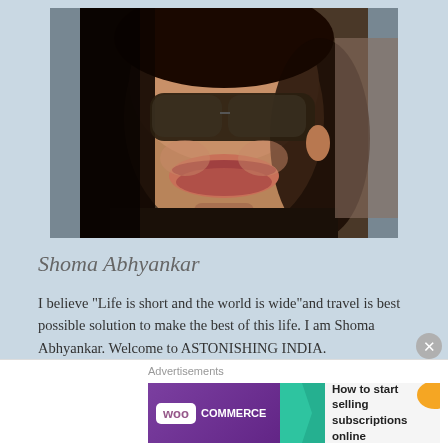[Figure (photo): Close-up photo of a woman named Shoma Abhyankar wearing sunglasses and smiling, with dark hair, against a light blue background]
Shoma Abhyankar
I believe "Life is short and the world is wide"and travel is best possible solution to make the best of this life. I am Shoma Abhyankar. Welcome to ASTONISHING INDIA.
Advertisements
[Figure (screenshot): WooCommerce advertisement banner: 'How to start selling subscriptions online']